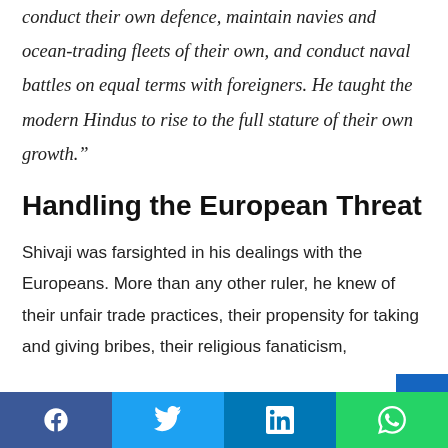conduct their own defence, maintain navies and ocean-trading fleets of their own, and conduct naval battles on equal terms with foreigners. He taught the modern Hindus to rise to the full stature of their own growth."
Handling the European Threat
Shivaji was farsighted in his dealings with the Europeans. More than any other ruler, he knew of their unfair trade practices, their propensity for taking and giving bribes, their religious fanaticism,
Facebook Twitter LinkedIn WhatsApp